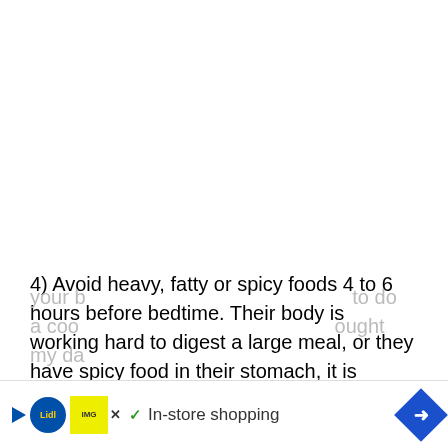4) Avoid heavy, fatty or spicy foods 4 to 6 hours before bedtime. Their body is working hard to digest a large meal, or they have spicy food in their stomach, it is harder for them to stay asleep.
5) Avoid strenuous exercise for about 2 hours before they go to bed. Regular, strenuous exercise actually will help you sleep more soundly, but not if it is too close to your b[...] to do a coo[...] ought my da[...]